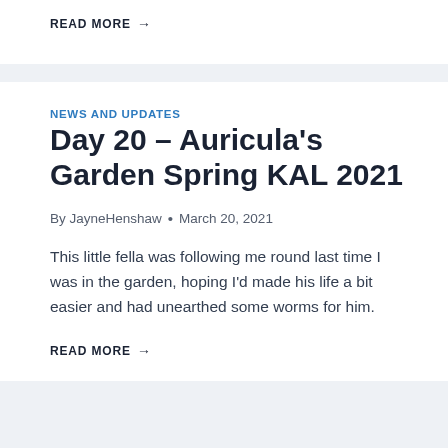READ MORE →
NEWS AND UPDATES
Day 20 – Auricula's Garden Spring KAL 2021
By JayneHenshaw • March 20, 2021
This little fella was following me round last time I was in the garden, hoping I'd made his life a bit easier and had unearthed some worms for him.
READ MORE →